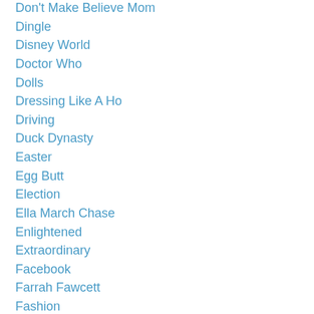Don't Make Believe Mom
Dingle
Disney World
Doctor Who
Dolls
Dressing Like A Ho
Driving
Duck Dynasty
Easter
Egg Butt
Election
Ella March Chase
Enlightened
Extraordinary
Facebook
Farrah Fawcett
Fashion
Fashion History
Favorite Songs From The 1980s
Feminine Products
Feris Bueller